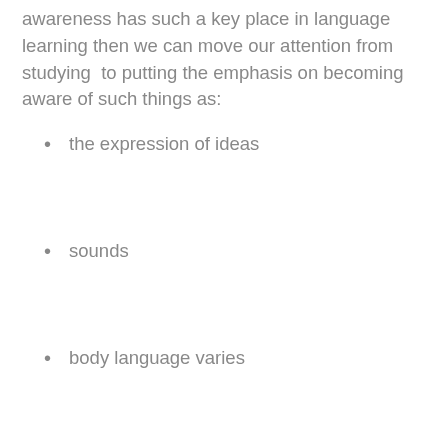awareness has such a key place in language learning then we can move our attention from studying  to putting the emphasis on becoming aware of such things as:
the expression of ideas
sounds
body language varies
the order of words